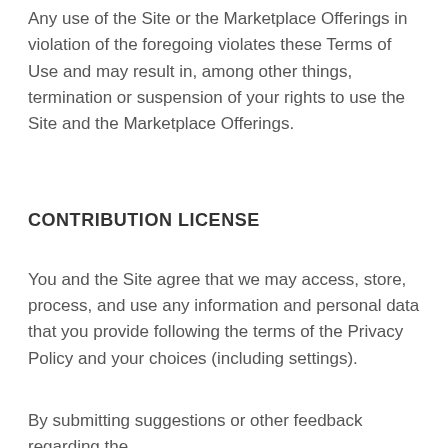Any use of the Site or the Marketplace Offerings in violation of the foregoing violates these Terms of Use and may result in, among other things, termination or suspension of your rights to use the Site and the Marketplace Offerings.
CONTRIBUTION LICENSE
You and the Site agree that we may access, store, process, and use any information and personal data that you provide following the terms of the Privacy Policy and your choices (including settings).
By submitting suggestions or other feedback regarding the